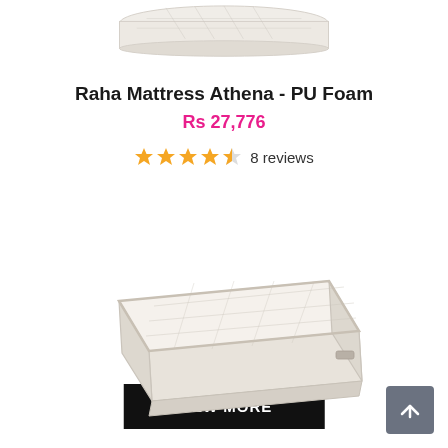[Figure (photo): Partial view of a white/cream mattress product image cropped at top]
Raha Mattress Athena - PU Foam
Rs 27,776
★★★★½ 8 reviews
VIEW MORE
[Figure (photo): A white/cream mattress shown in perspective view from above]